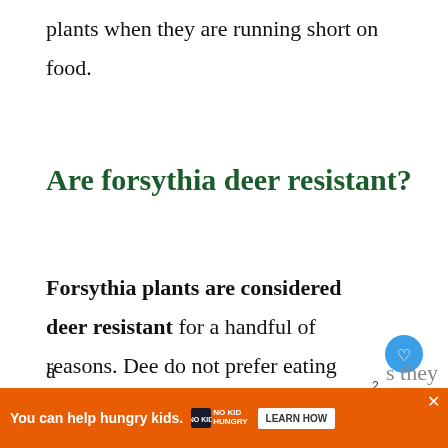plants when they are running short on food.
Are forsythia deer resistant?
Forsythia plants are considered deer resistant for a handful of reasons. Deer do not prefer eating these plants. They will choose other shrubs and plants when they are running short on food.
[Figure (screenshot): Web page overlay UI with heart/like button (blue circle with heart icon), share button (white circle with share icon), badge showing '2', and a 'WHAT'S NEXT' panel showing 'Does Pine Sol Repel...' with a product image]
[Figure (screenshot): Advertisement bar at bottom: orange background with text 'You can help hungry kids.' No Kid Hungry logo and 'LEARN HOW' button. Close X button visible.]